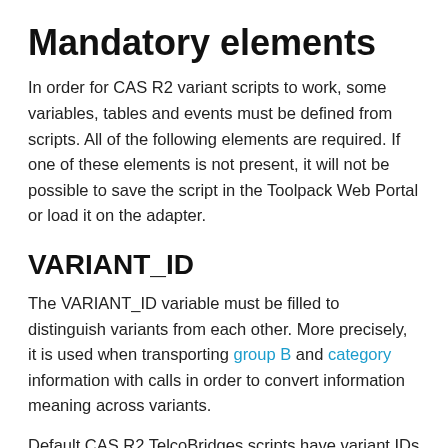Mandatory elements
In order for CAS R2 variant scripts to work, some variables, tables and events must be defined from scripts. All of the following elements are required. If one of these elements is not present, it will not be possible to save the script in the Toolpack Web Portal or load it on the adapter.
VARIANT_ID
The VARIANT_ID variable must be filled to distinguish variants from each other. More precisely, it is used when transporting group B and category information with calls in order to convert information meaning across variants.
Default CAS R2 TelcoBridges scripts have variant IDs starting from 1. To avoid future conflicts, user scripts variant IDs should be prefixed with a sufficiently high value. For example, a modified ITU variant could have a ID